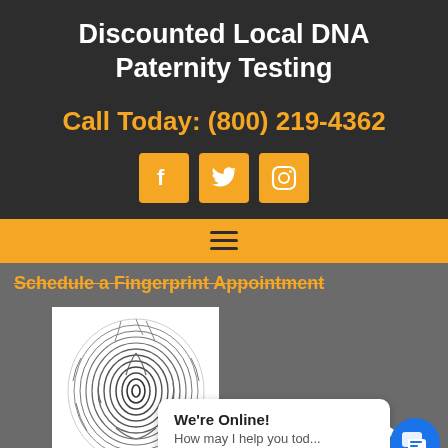Discounted Local DNA Paternity Testing
Call Today: (800) 219-4362
[Figure (infographic): Three orange social media icon buttons: Facebook (f), Twitter (bird), Instagram (camera/square)]
[Figure (infographic): Orange navigation bar with hamburger menu icon (three horizontal lines)]
Schedule a Fingerprint Appointment
[Figure (illustration): Fingerprint illustration on white background — detailed whorl pattern fingerprint in black and white]
We're Online!
How may I help you tod...
Privacy